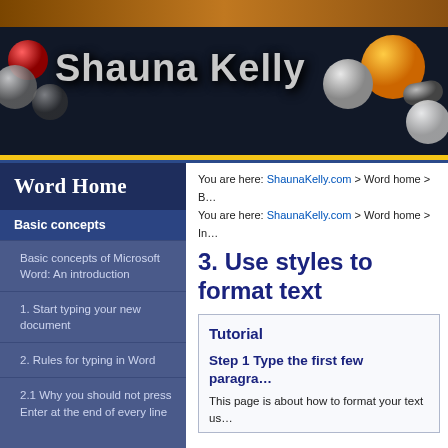[Figure (illustration): Shauna Kelly website header banner with decorative 3D spheres and the text 'Shauna Kelly' in large silver/gray bold font on a dark background, with a brown/orange top strip]
You are here: ShaunaKelly.com > Word home > B...
You are here: ShaunaKelly.com > Word home > In...
3. Use styles to format text
Word Home
Basic concepts
Basic concepts of Microsoft Word: An introduction
1. Start typing your new document
2. Rules for typing in Word
2.1 Why you should not press Enter at the end of every line
Tutorial
Step 1 Type the first few paragra...
This page is about how to format your text us...